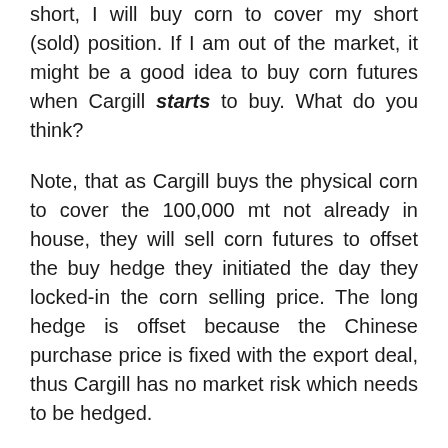short, I will buy corn to cover my short (sold) position. If I am out of the market, it might be a good idea to buy corn futures when Cargill starts to buy. What do you think?
Note, that as Cargill buys the physical corn to cover the 100,000 mt not already in house, they will sell corn futures to offset the buy hedge they initiated the day they locked-in the corn selling price. The long hedge is offset because the Chinese purchase price is fixed with the export deal, thus Cargill has no market risk which needs to be hedged.
US food and fiber exporters are